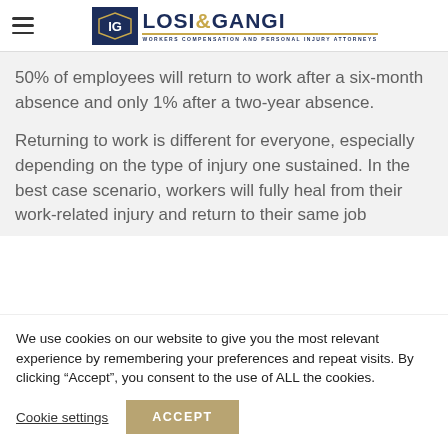[Figure (logo): Losi & Gangi Workers Compensation and Personal Injury Attorneys logo with blue shield emblem]
50% of employees will return to work after a six-month absence and only 1% after a two-year absence.
Returning to work is different for everyone, especially depending on the type of injury one sustained. In the best case scenario, workers will fully heal from their work-related injury and return to their same job
We use cookies on our website to give you the most relevant experience by remembering your preferences and repeat visits. By clicking “Accept”, you consent to the use of ALL the cookies.